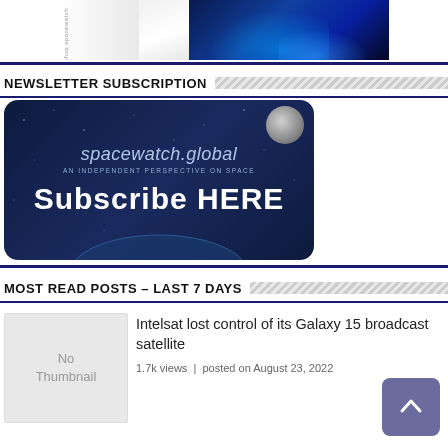[Figure (photo): Space-themed banner image with white cloth/flag on left and Earth from space on right, with shop.spacewatch text visible]
NEWSLETTER SUBSCRIPTION
[Figure (screenshot): spacewatch.global Subscribe HERE newsletter subscription banner with dark blue space background, moon visible, and Earth visible at bottom]
MOST READ POSTS – LAST 7 DAYS
[Figure (photo): No Thumbnail placeholder image]
Intelsat lost control of its Galaxy 15 broadcast satellite
1.7k views | posted on August 23, 2022